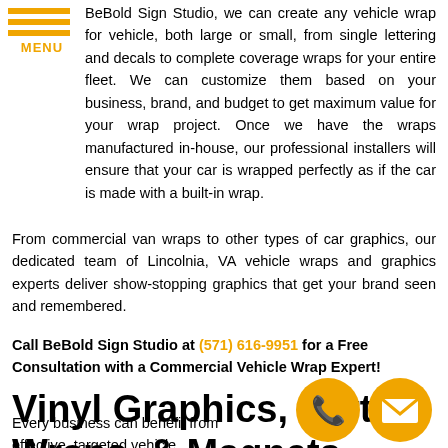[Figure (illustration): Hamburger menu icon with three gold horizontal lines and gold MENU text below]
BeBold Sign Studio, we can create any vehicle wrap for vehicle, both large or small, from single lettering and decals to complete coverage wraps for your entire fleet. We can customize them based on your business, brand, and budget to get maximum value for your wrap project. Once we have the wraps manufactured in-house, our professional installers will ensure that your car is wrapped perfectly as if the car is made with a built-in wrap.
From commercial van wraps to other types of car graphics, our dedicated team of Lincolnia, VA vehicle wraps and graphics experts deliver show-stopping graphics that get your brand seen and remembered.
Call BeBold Sign Studio at (571) 616-9951 for a Free Consultation with a Commercial Vehicle Wrap Expert!
Vinyl Graphics, Partial Wraps, & Magnets
Every business can benefit from effective, targeted vehicle
[Figure (illustration): Gold circle phone icon button]
[Figure (illustration): Gold circle email/envelope icon button]